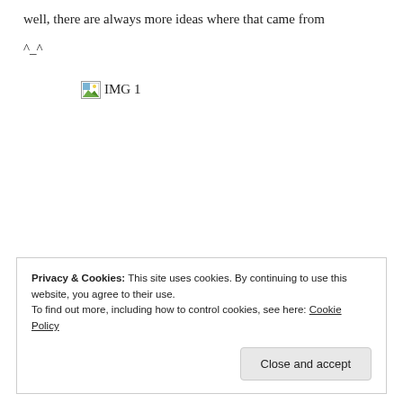well, there are always more ideas where that came from
^_^
[Figure (other): Broken image placeholder labeled 'IMG 1']
Privacy & Cookies: This site uses cookies. By continuing to use this website, you agree to their use.
To find out more, including how to control cookies, see here: Cookie Policy
Close and accept